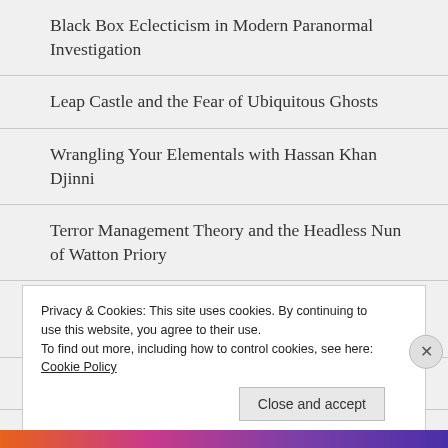Black Box Eclecticism in Modern Paranormal Investigation
Leap Castle and the Fear of Ubiquitous Ghosts
Wrangling Your Elementals with Hassan Khan Djinni
Terror Management Theory and the Headless Nun of Watton Priory
Reflections on Fata Morgana and the H.M.S. Barracouta
The Curse of the Lawrenceburg Ferry
Privacy & Cookies: This site uses cookies. By continuing to use this website, you agree to their use.
To find out more, including how to control cookies, see here: Cookie Policy
Close and accept